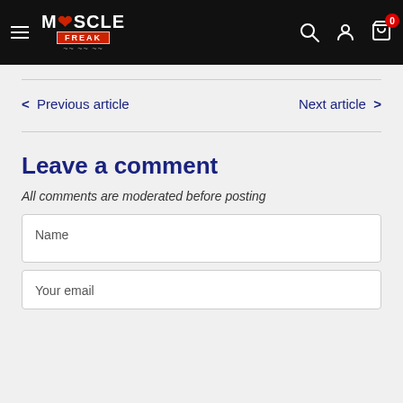[Figure (logo): Muscle Freak logo with hamburger menu, search, account, and cart icons on black header bar]
< Previous article
Next article >
Leave a comment
All comments are moderated before posting
Name
Your email